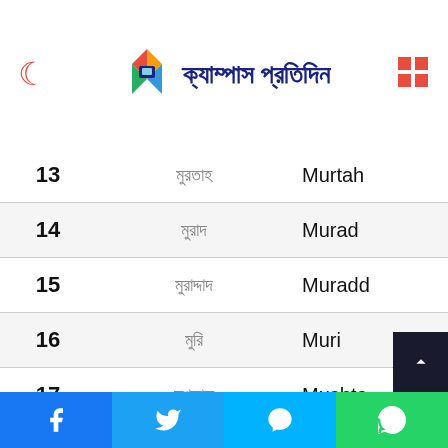ক্যাম্পাস প্রতিদিন
| # | Bengali Name | English Name |
| --- | --- | --- |
| 13 | মুরতাহ | Murtah |
| 14 | মুরাদ | Murad |
| 15 | মুরাদ্দাদ | Muradd |
| 16 | মুরি | Muri |
| 17 | মুশতাক | Mushta |
| 18 | মুশফিক | Mushfiq |
| 19 | মুস্তাকিম | Mustaki |
| 20 | মুস্তাফা | Musta |